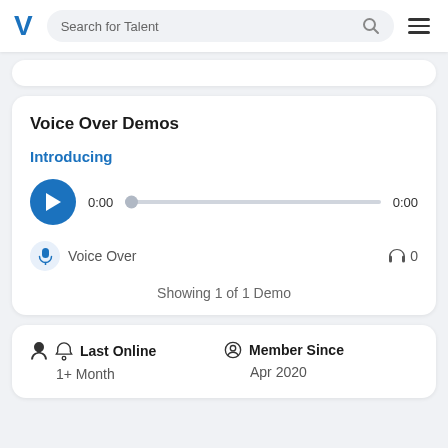Search for Talent
Voice Over Demos
Introducing
0:00   0:00
Voice Over   0
Showing 1 of 1 Demo
Last Online
1+ Month
Member Since
Apr 2020